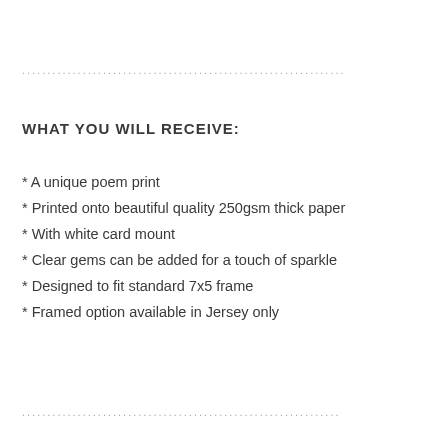................................................................
WHAT YOU WILL RECEIVE:
* A unique poem print
* Printed onto beautiful quality 250gsm thick paper
* With white card mount
* Clear gems can be added for a touch of sparkle
* Designed to fit standard 7x5 frame
* Framed option available in Jersey only
...............................................................